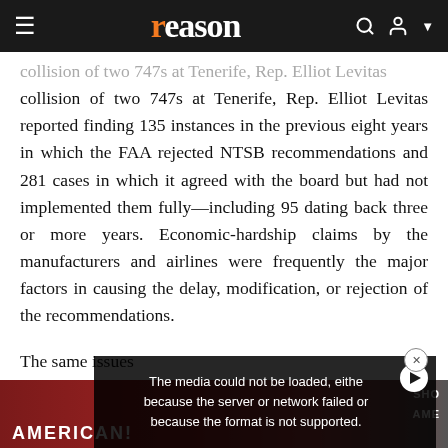reason
collision of two 747s at Tenerife, Rep. Elliot Levitas reported finding 135 instances in the previous eight years in which the FAA rejected NTSB recommendations and 281 cases in which it agreed with the board but had not implemented them fully—including 95 dating back three or more years. Economic-hardship claims by the manufacturers and airlines were frequently the major factors in causing the delay, modification, or rejection of the recommendations.
The same issues or outmoded FA versus safety—a FARs define mi personnel, spell operating condi requirements.
[Figure (screenshot): Video player overlay with error message: The media could not be loaded, either because the server or network failed or because the format is not supported. Background shows protest scene with American Airlines workers.]